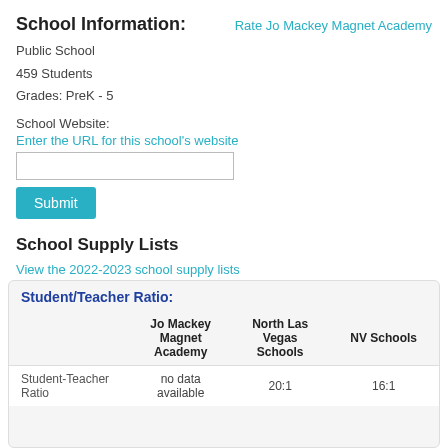School Information:
Rate Jo Mackey Magnet Academy
Public School
459 Students
Grades: PreK - 5
School Website:
Enter the URL for this school's website
School Supply Lists
View the 2022-2023 school supply lists for this school.
|  | Jo Mackey Magnet Academy | North Las Vegas Schools | NV Schools |
| --- | --- | --- | --- |
| Student-Teacher Ratio | no data available | 20:1 | 16:1 |